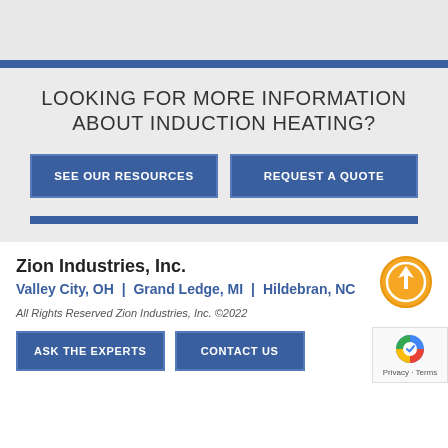LOOKING FOR MORE INFORMATION ABOUT INDUCTION HEATING?
SEE OUR RESOURCES
REQUEST A QUOTE
Zion Industries, Inc.
Valley City, OH | Grand Ledge, MI | Hildebran, NC
All Rights Reserved Zion Industries, Inc. ©2022
ASK THE EXPERTS
CONTACT US